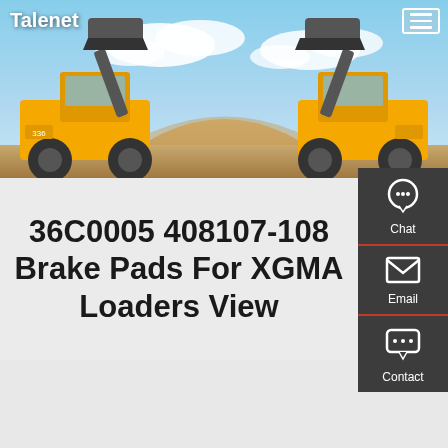[Figure (photo): Two yellow XGMA wheel loaders facing each other with raised buckets against a sandy hill and cloudy sky background]
Talenet
36C0005 408107-1080 Brake Pads For XGMA Loaders View